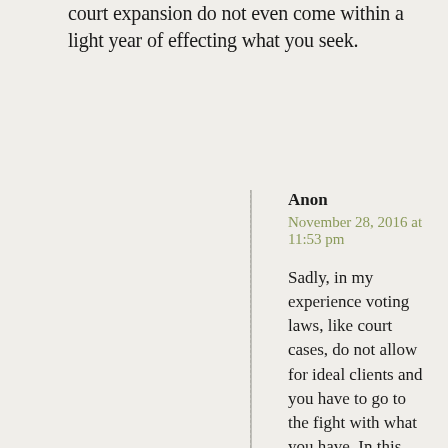court expansion do not even come within a light year of effecting what you seek.
Anon
November 28, 2016 at 11:53 pm

Sadly, in my experience voting laws, like court cases, do not allow for ideal clients and you have to go to the fight with what you have. In this case whatever Jill Stein's motivations she is triggering the one method that exists to validate the result which is far more than either Clinton or